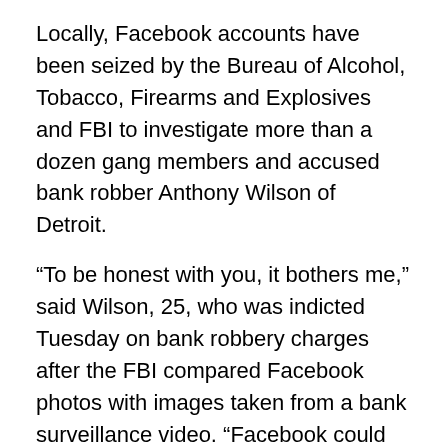Locally, Facebook accounts have been seized by the Bureau of Alcohol, Tobacco, Firearms and Explosives and FBI to investigate more than a dozen gang members and accused bank robber Anthony Wilson of Detroit.
“To be honest with you, it bothers me,” said Wilson, 25, who was indicted Tuesday on bank robbery charges after the FBI compared Facebook photos with images taken from a bank surveillance video. “Facebook could have let me know what was going on. Instead, I got my door kicked down, and all of a sudden I’m in handcuffs.”
Federal investigators defend the practice. “With technology today, we would be crazy not to look at every avenue,” said Special Agent Donald Dawkins, spokesman with the ATF in Detroit.
The FBI presented Wilson… [text continues below]